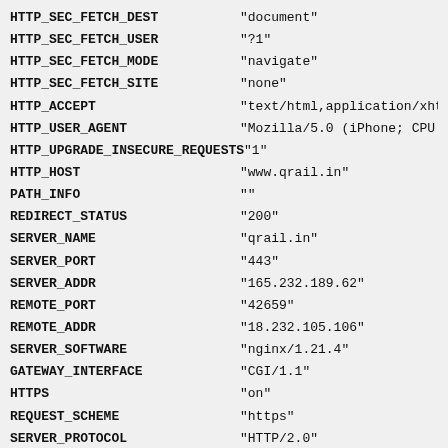HTTP_SEC_FETCH_DEST    "document"
HTTP_SEC_FETCH_USER    "?1"
HTTP_SEC_FETCH_MODE    "navigate"
HTTP_SEC_FETCH_SITE    "none"
HTTP_ACCEPT    "text/html,application/xhtml
HTTP_USER_AGENT    "Mozilla/5.0 (iPhone; CPU iP
HTTP_UPGRADE_INSECURE_REQUESTS    "1"
HTTP_HOST    "www.qrail.in"
PATH_INFO    ""
REDIRECT_STATUS    "200"
SERVER_NAME    "qrail.in"
SERVER_PORT    "443"
SERVER_ADDR    "165.232.189.62"
REMOTE_PORT    "42659"
REMOTE_ADDR    "18.232.105.106"
SERVER_SOFTWARE    "nginx/1.21.4"
GATEWAY_INTERFACE    "CGI/1.1"
HTTPS    "on"
REQUEST_SCHEME    "https"
SERVER_PROTOCOL    "HTTP/2.0"
DOCUMENT_ROOT    "/www/wwwroot/qrail.in/publ
DOCUMENT_URI    "/index.php"
REQUEST_URI    "/train/running-status/02171
SCRIPT_NAME    "/index.php"